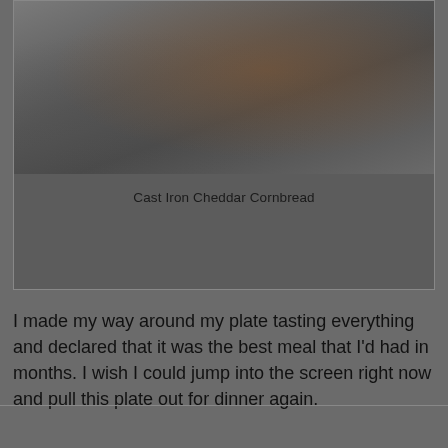[Figure (photo): Photo of a food dish on a plate, appearing to show beans or similar food items, partially visible at the top of the page, with a darkened/grayed overlay]
Cast Iron Cheddar Cornbread
I made my way around my plate tasting everything and declared that it was the best meal that I'd had in months. I wish I could jump into the screen right now and pull this plate out for dinner again.